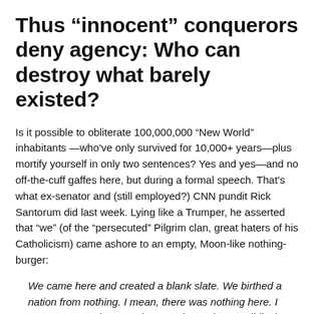Thus “innocent” conquerors deny agency: Who can destroy what barely existed?
Is it possible to obliterate 100,000,000 “New World” inhabitants—who’ve only survived for 10,000+ years—plus mortify yourself in only two sentences? Yes and yes—and no off-the-cuff gaffes here, but during a formal speech. That’s what ex-senator and (still employed?) CNN pundit Rick Santorum did last week. Lying like a Trumper, he asserted that “we” (of the “persecuted” Pilgrim clan, great haters of his Catholicism) came ashore to an empty, Moon-like nothing-burger:
We came here and created a blank slate. We birthed a nation from nothing. I mean, there was nothing here. I mean, yes, we have Native Americans, but candidly that—there isn’t